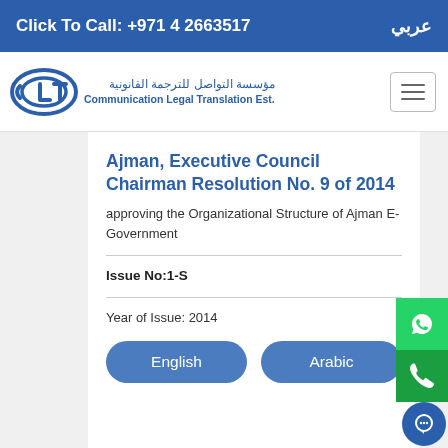Click To Call: +971 4 2663517  |  عربي
[Figure (logo): CLT Communication Legal Translation Est. logo with Arabic text مؤسسة التواصل للترجمة القانونية]
Ajman, Executive Council Chairman Resolution No. 9 of 2014
approving the Organizational Structure of Ajman E-Government
Issue No:1-S
Year of Issue: 2014
English
Arabic